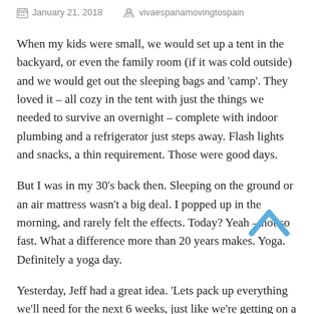January 21, 2018   vivaespanamovingtospain
When my kids were small, we would set up a tent in the backyard, or even the family room (if it was cold outside) and we would get out the sleeping bags and 'camp'. They loved it – all cozy in the tent with just the things we needed to survive an overnight – complete with indoor plumbing and a refrigerator just steps away. Flash lights and snacks, a thin requirement. Those were good days.
But I was in my 30's back then. Sleeping on the ground or an air mattress wasn't a big deal. I popped up in the morning, and rarely felt the effects. Today? Yeah – not so fast. What a difference more than 20 years makes. Yoga. Definitely a yoga day.
[Figure (illustration): Blue upward-pointing chevron/caret arrow (back to top button)]
Yesterday, Jeff had a great idea. 'Lets pack up everything we'll need for the next 6 weeks, just like we're getting on a